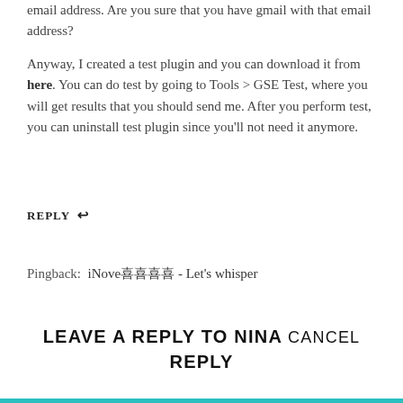email address. Are you sure that you have gmail with that email address?
Anyway, I created a test plugin and you can download it from here. You can do test by going to Tools > GSE Test, where you will get results that you should send me. After you perform test, you can uninstall test plugin since you'll not need it anymore.
REPLY ↩
Pingback: iNove喜喜喜喜 - Let's whisper
LEAVE A REPLY TO NINA CANCEL REPLY